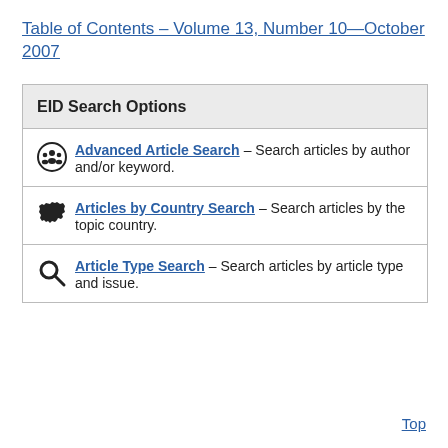Table of Contents – Volume 13, Number 10—October 2007
EID Search Options
Advanced Article Search – Search articles by author and/or keyword.
Articles by Country Search – Search articles by the topic country.
Article Type Search – Search articles by article type and issue.
Top